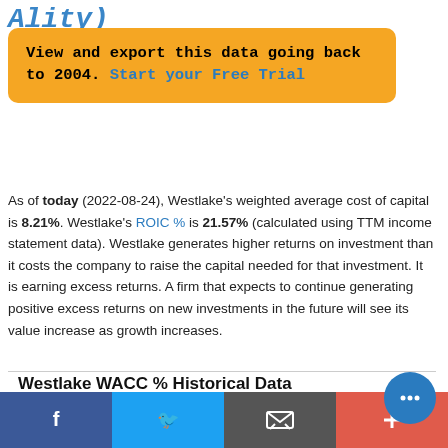Ality)
View and export this data going back to 2004. Start your Free Trial
As of today (2022-08-24), Westlake's weighted average cost of capital is 8.21%. Westlake's ROIC % is 21.57% (calculated using TTM income statement data). Westlake generates higher returns on investment than it costs the company to raise the capital needed for that investment. It is earning excess returns. A firm that expects to continue generating positive excess returns on new investments in the future will see its value increase as growth increases.
Westlake WACC % Historical Data
The historical data trend for Westlake's WACC % can be